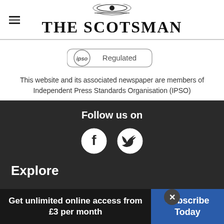[Figure (logo): The Scotsman newspaper logo with decorative emblem above the serif text]
[Figure (logo): IPSO Regulated badge in oval border]
This website and its associated newspaper are members of Independent Press Standards Organisation (IPSO)
Follow us on
[Figure (illustration): Facebook and Twitter social media icons in dark circles]
Explore
News
Sport
Business
Arts and Culture
Lifestyle
Food and Drink
Get unlimited online access from £3 per month
Subscribe Today